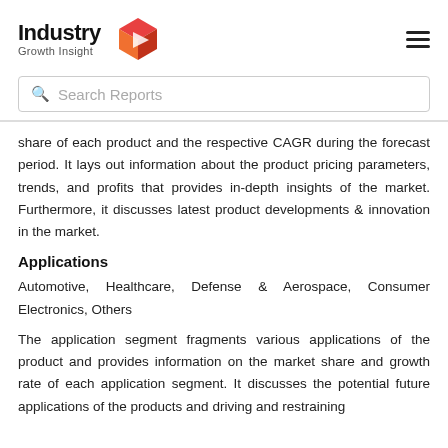Industry Growth Insight
Search Reports
share of each product and the respective CAGR during the forecast period. It lays out information about the product pricing parameters, trends, and profits that provides in-depth insights of the market. Furthermore, it discusses latest product developments & innovation in the market.
Applications
Automotive, Healthcare, Defense & Aerospace, Consumer Electronics, Others
The application segment fragments various applications of the product and provides information on the market share and growth rate of each application segment. It discusses the potential future applications of the products and driving and restraining